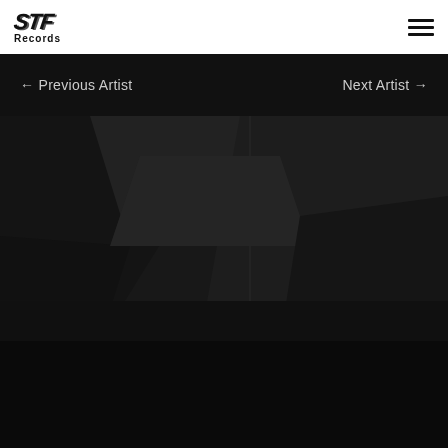[Figure (logo): STF Records logo with stylized italic bold text 'STF' above 'Records' in black on white header]
[Figure (other): Hamburger menu icon (three horizontal lines) in top right corner of white header]
← Previous Artist    Next Artist →
[Figure (illustration): Dark polygonal/geometric abstract background image with dark grey angular shapes]
[Figure (other): Small scroll-to-top button in light grey with upward arrow chevron at bottom right]